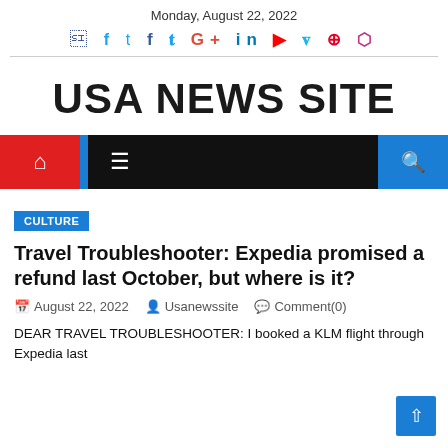Monday, August 22, 2022
USA NEWS SITE
CULTURE
Travel Troubleshooter: Expedia promised a refund last October, but where is it?
August 22, 2022   Usanewssite   Comment(0)
DEAR TRAVEL TROUBLESHOOTER: I booked a KLM flight through Expedia last year...